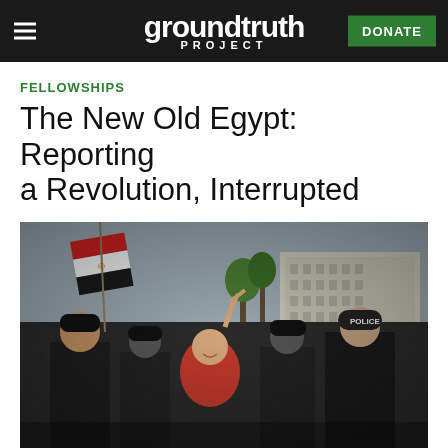groundtruth PROJECT | DONATE
FELLOWSHIPS
The New Old Egypt: Reporting a Revolution, Interrupted
[Figure (photo): A woman in a red hijab makes a peace sign while smiling amid a crowd of people dressed in black at what appears to be a protest or demonstration in Egypt. An Egyptian flag (red, white, black with the eagle emblem) is visible being waved. A police officer in tactical gear stands to the right. Buildings and palm trees are visible in the background, suggesting Tahrir Square or similar urban Cairo setting.]